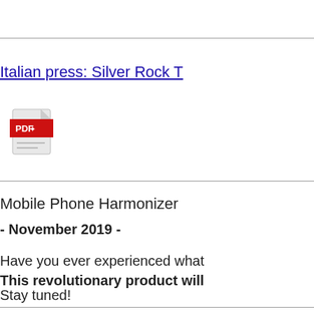Italian press: Silver Rock T
[Figure (illustration): PDF file icon with red Adobe Acrobat logo on a white/grey document]
Mobile Phone Harmonizer
- November 2019 -
Have you ever experienced what... This revolutionary product will...
Stay tuned!
The Chord...tro...tion